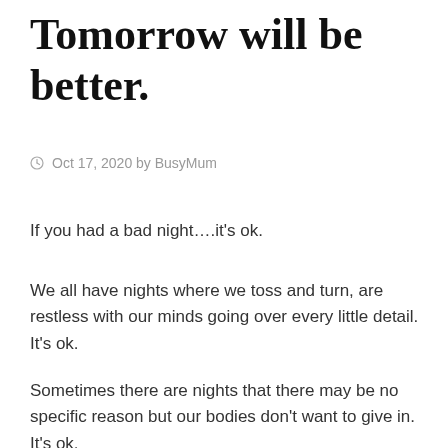Tomorrow will be better.
Oct 17, 2020 by BusyMum
If you had a bad night….it's ok.
We all have nights where we toss and turn, are restless with our minds going over every little detail. It's ok.
Sometimes there are nights that there may be no specific reason but our bodies don't want to give in. It's ok.